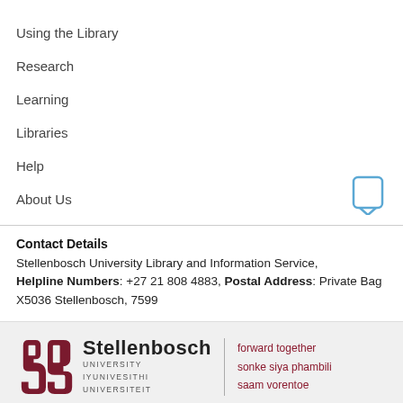Using the Library
Research
Learning
Libraries
Help
About Us
Contact Details
Stellenbosch University Library and Information Service, Helpline Numbers: +27 21 808 4883, Postal Address: Private Bag X5036 Stellenbosch, 7599
[Figure (logo): Stellenbosch University logo with tagline: forward together / sonke siya phambili / saam vorentoe]